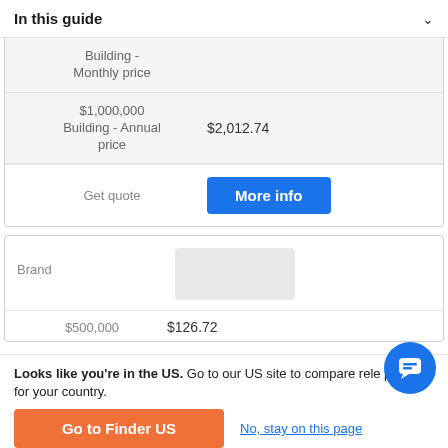In this guide
|  |  |
| --- | --- |
| Building - Monthly price |  |
| $1,000,000 Building - Annual price | $2,012.74 |
| Get quote | More info |
| Brand |  |
| --- | --- |
| Brand | [logo] |
| $500,000 | $126.72 |
Looks like you're in the US. Go to our US site to compare rele products for your country.
Go to Finder US
No, stay on this page